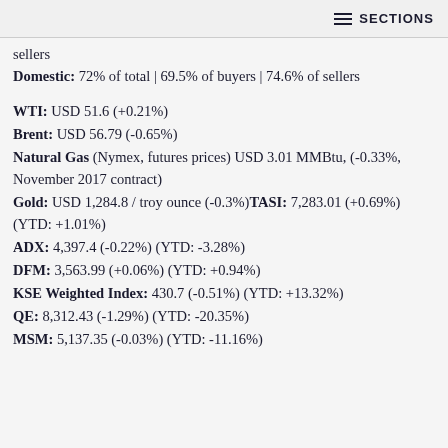SECTIONS
sellers
Domestic: 72% of total | 69.5% of buyers | 74.6% of sellers
WTI: USD 51.6 (+0.21%)
Brent: USD 56.79 (-0.65%)
Natural Gas (Nymex, futures prices) USD 3.01 MMBtu, (-0.33%, November 2017 contract)
Gold: USD 1,284.8 / troy ounce (-0.3%)TASI: 7,283.01 (+0.69%) (YTD: +1.01%)
ADX: 4,397.4 (-0.22%) (YTD: -3.28%)
DFM: 3,563.99 (+0.06%) (YTD: +0.94%)
KSE Weighted Index: 430.7 (-0.51%) (YTD: +13.32%)
QE: 8,312.43 (-1.29%) (YTD: -20.35%)
MSM: 5,137.35 (-0.03%) (YTD: -11.16%)